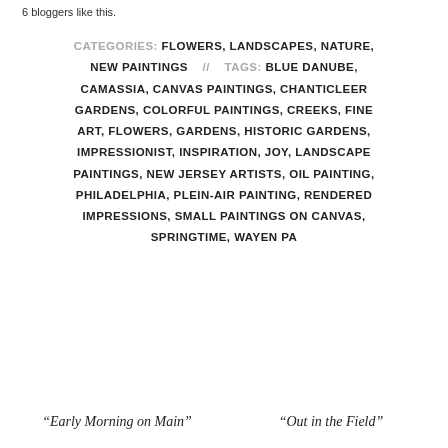6 bloggers like this.
CATEGORIES: FLOWERS, LANDSCAPES, NATURE, NEW PAINTINGS // TAGS: BLUE DANUBE, CAMASSIA, CANVAS PAINTINGS, CHANTICLEER GARDENS, COLORFUL PAINTINGS, CREEKS, FINE ART, FLOWERS, GARDENS, HISTORIC GARDENS, IMPRESSIONIST, INSPIRATION, JOY, LANDSCAPE PAINTINGS, NEW JERSEY ARTISTS, OIL PAINTING, PHILADELPHIA, PLEIN-AIR PAINTING, RENDERED IMPRESSIONS, SMALL PAINTINGS ON CANVAS, SPRINGTIME, WAYEN PA
“Early Morning on Main”
“Out in the Field”